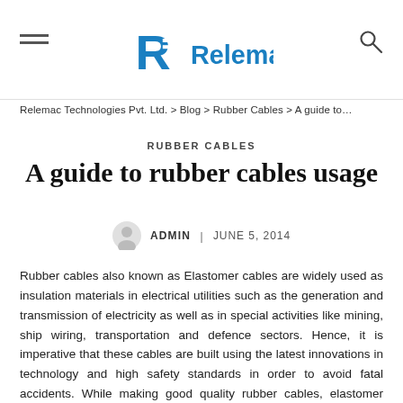[Figure (logo): Relemac Technologies logo with a blue stylized R and horizontal lines, followed by the word Relemac in blue]
Relemac Technologies Pvt. Ltd. > Blog > Rubber Cables > A guide to…
RUBBER CABLES
A guide to rubber cables usage
ADMIN | JUNE 5, 2014
Rubber cables also known as Elastomer cables are widely used as insulation materials in electrical utilities such as the generation and transmission of electricity as well as in special activities like mining, ship wiring, transportation and defence sectors. Hence, it is imperative that these cables are built using the latest innovations in technology and high safety standards in order to avoid fatal accidents. While making good quality rubber cables, elastomer materials such as Polychloroprene (PCP), Chloro-Sulphoneted Polyethelene (CSP), Nitrilo Rubber /PVC blends, Ethylene Propylene Rubber